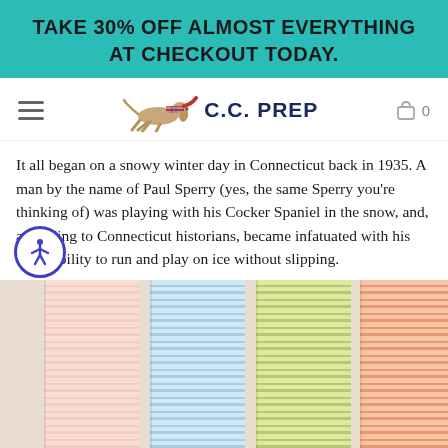TAKE 30% OFF ALMOST EVERYTHING AT CHECKOUT TODAY.
[Figure (logo): C.C. PREP logo with running dog and plaid pattern]
It all began on a snowy winter day in Connecticut back in 1935. A man by the name of Paul Sperry (yes, the same Sperry you're thinking of) was playing with his Cocker Spaniel in the snow, and, according to Connecticut historians, became infatuated with his dog's ability to run and play on ice without slipping.
[Figure (photo): Four rolled fabric items with horizontal stripes in pink, blue, green/yellow, and orange colors]